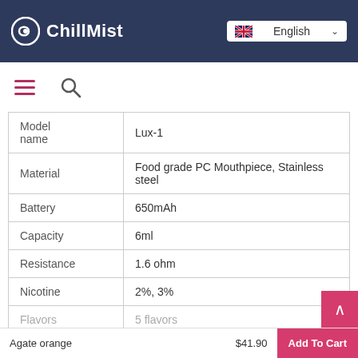ChillMist — English language selector
| Property | Value |
| --- | --- |
| Model name | Lux-1 |
| Material | Food grade PC Mouthpiece, Stainless steel |
| Battery | 650mAh |
| Capacity | 6ml |
| Resistance | 1.6 ohm |
| Nicotine | 2%, 3% |
| Flavors | 5 flavors |
Agate orange   $41.90   Add To Cart